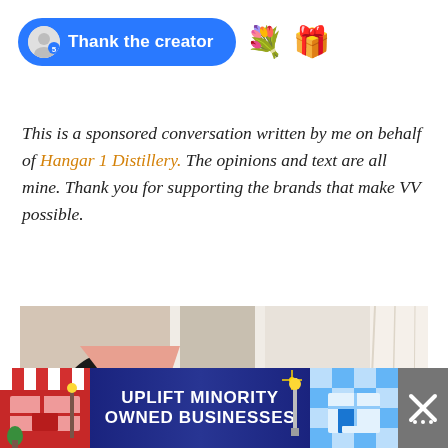[Figure (screenshot): Blue 'Thank the creator' button with avatar icon, followed by flower bouquet emoji and gift box emoji]
This is a sponsored conversation written by me on behalf of Hangar 1 Distillery. The opinions and text are all mine. Thank you for supporting the brands that make VV possible.
[Figure (photo): Interior room photo showing abstract art on wall with black and pink shapes, a doorway, green plant on table, white curtain]
[Figure (screenshot): Ad banner: UPLIFT MINORITY OWNED BUSINESSES with store illustrations on left and right, dark blue background]